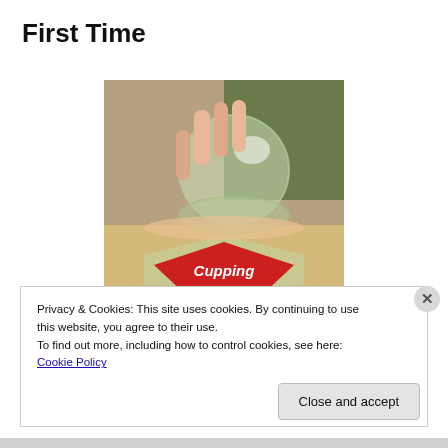First Time
[Figure (photo): A hand holding a glass cupping therapy cup against skin, with a book cover showing 'Cupping Therapy' below]
Privacy & Cookies: This site uses cookies. By continuing to use this website, you agree to their use.
To find out more, including how to control cookies, see here: Cookie Policy
Close and accept